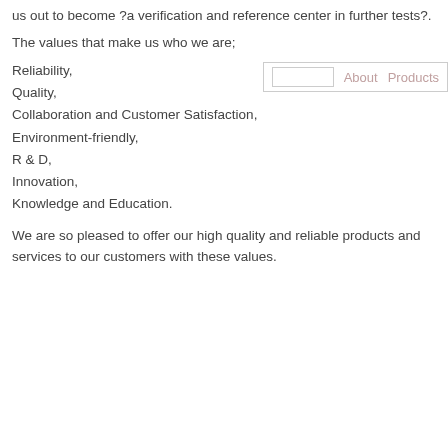us out to become ?a verification and reference center in further tests?.
The values that make us who we are;
Reliability,
Quality,
Collaboration and Customer Satisfaction,
Environment-friendly,
R & D,
Innovation,
Knowledge and Education.
We are so pleased to offer our high quality and reliable products and services to our customers with these values.